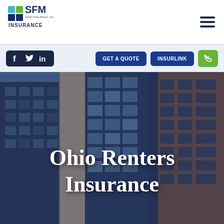[Figure (logo): SFM Smith-Firke-Minton Inc. Insurance logo with colored squares icon]
[Figure (other): Hamburger menu icon (three horizontal lines)]
[Figure (other): Social media icons: Facebook, Twitter, LinkedIn on dark navy background]
GET A QUOTE
INSURLINK
[Figure (other): Green phone icon button]
[Figure (photo): Upward angled photo of modern apartment or office buildings with glass windows and brick facade, blue-tinted overlay]
Ohio Renters Insurance